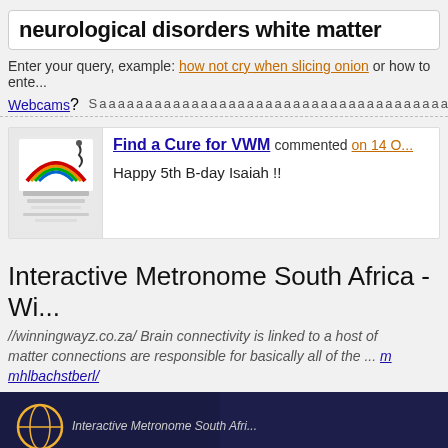neurological disorders white matter
Enter your query, example: how not cry when slicing onion or how to ente...
Webcams? Saaaaaaaaaaaaaaaaaaaaaaaaaaaaaaaaaaaaaaaaaaaaaaaaaaaa...
[Figure (illustration): Logo for Find a Cure for VWM with rainbow and ribbon graphic]
Find a Cure for VWM commented on 14 O...
Happy 5th B-day Isaiah !!
Interactive Metronome South Africa - Wi...
//winningwayz.co.za/ Brain connectivity is linked to a host of matter connections are responsible for basically all of the ... mhlbachstberl/
[Figure (screenshot): Dark banner image with Interactive Metronome South Africa text]